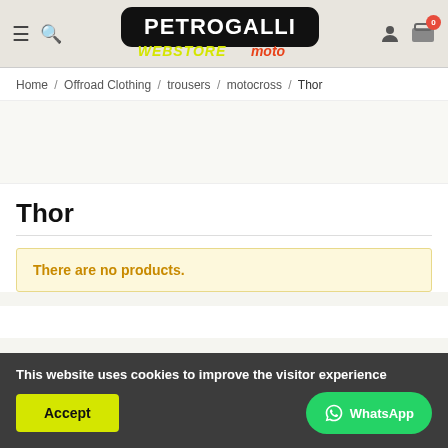Petrogalli Webstore Moto - Header navigation
Home / Offroad Clothing / trousers / motocross / Thor
Thor
There are no products.
This website uses cookies to improve the visitor experience
Accept
WhatsApp